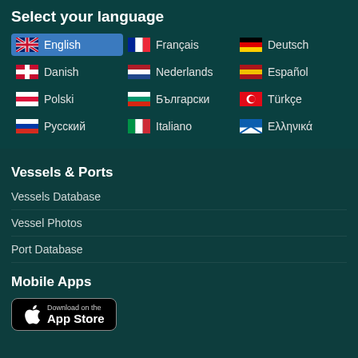Select your language
English
Français
Deutsch
Danish
Nederlands
Español
Polski
Български
Türkçe
Русский
Italiano
Ελληνικά
Vessels & Ports
Vessels Database
Vessel Photos
Port Database
Mobile Apps
[Figure (screenshot): Download on the App Store button]